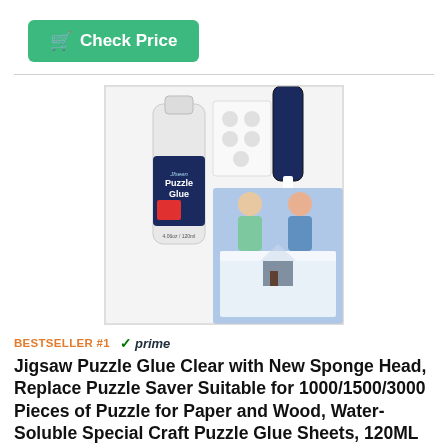[Figure (screenshot): Green 'Check Price' button with shopping cart icon]
[Figure (photo): Product photo collage of Jigsaw Puzzle Glue Clear with sponge head applicator bottle, adhesive sheets, tube, and two children displaying a completed winter puzzle]
BESTSELLER #1   ✓prime
Jigsaw Puzzle Glue Clear with New Sponge Head, Replace Puzzle Saver Suitable for 1000/1500/3000 Pieces of Puzzle for Paper and Wood, Water-Soluble Special Craft Puzzle Glue Sheets, 120ML